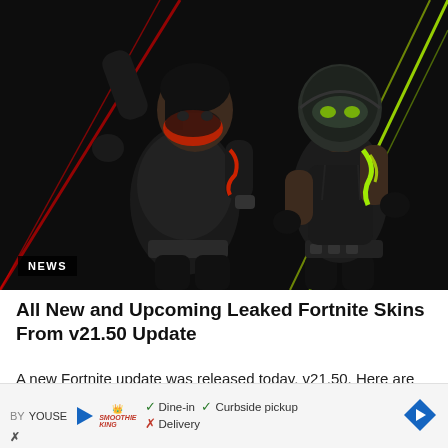[Figure (illustration): Fortnite game screenshot showing two character skins in black tactical outfits against a dark background with red and neon green light beams. Left character has a red mask and dark hair. Right character wears a green-tinted helmet and has glowing yellow-green markings on her arm. A 'NEWS' badge appears in the bottom-left corner of the image.]
All New and Upcoming Leaked Fortnite Skins From v21.50 Update
A new Fortnite update was released today, v21.50. Here are all the Fortnite skins and other cosmetics that have...
BY YOUSE